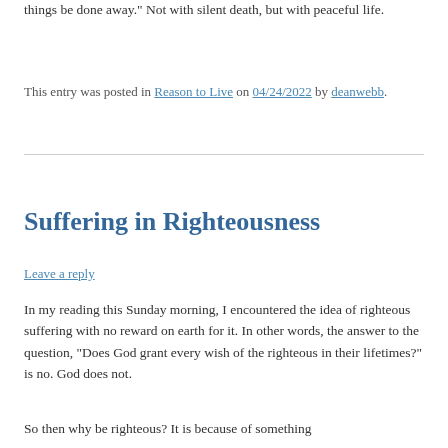things be done away.” Not with silent death, but with peaceful life.
This entry was posted in Reason to Live on 04/24/2022 by deanwebb.
Suffering in Righteousness
Leave a reply
In my reading this Sunday morning, I encountered the idea of righteous suffering with no reward on earth for it. In other words, the answer to the question, “Does God grant every wish of the righteous in their lifetimes?” is no. God does not.
So then why be righteous? It is because of something